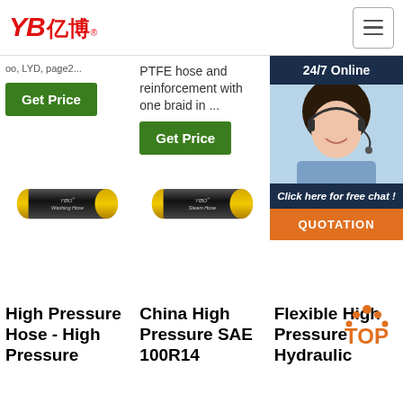YB亿博 logo and navigation hamburger menu
oo, LYD, page2...
PTFE hose and reinforcement with one braid in ...
Get Price
Get Price
Get Price
24/7 Online
[Figure (photo): Customer service representative wearing headset, smiling]
Click here for free chat!
QUOTATION
[Figure (photo): YIBO Washing Hose - black rubber hose with gold braid ends]
[Figure (photo): YIBO Steam Hose - black rubber hose with gold braid ends]
High Pressure Hose - High Pressure
China High Pressure SAE 100R14
Flexible High Pressure Hydraulic